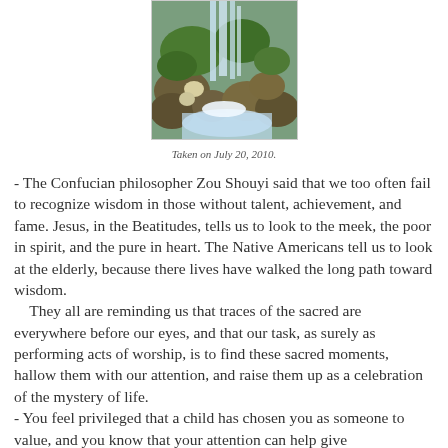[Figure (photo): A waterfall cascading over moss-covered rocks and stones.]
Taken on July 20, 2010.
- The Confucian philosopher Zou Shouyi said that we too often fail to recognize wisdom in those without talent, achievement, and fame. Jesus, in the Beatitudes, tells us to look to the meek, the poor in spirit, and the pure in heart. The Native Americans tell us to look at the elderly, because there lives have walked the long path toward wisdom.
   They all are reminding us that traces of the sacred are everywhere before our eyes, and that our task, as surely as performing acts of worship, is to find these sacred moments, hallow them with our attention, and raise them up as a celebration of the mystery of life.
- You feel privileged that a child has chosen you as someone to value, and you know that your attention can help give
- You feel privileged that a child has chosen you as someone to value, and you know that your attention can help give